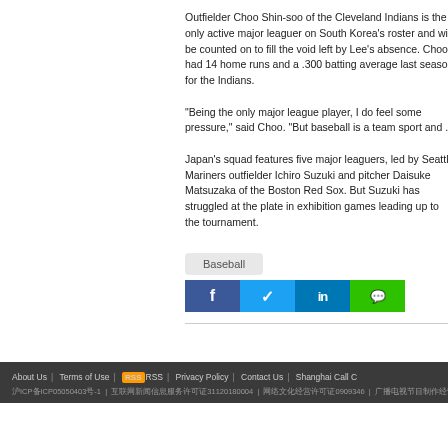Outfielder Choo Shin-soo of the Cleveland Indians is the only active major leaguer on South Korea's roster and will be counted on to fill the void left by Lee's absence. Choo had 14 home runs and a .300 batting average last season for the Indians.

"Being the only major league player, I do feel some pressure," said Choo. "But baseball is a team sport and ...

Japan's squad features five major leaguers, led by Seattle Mariners outfielder Ichiro Suzuki and pitcher Daisuke Matsuzaka of the Boston Red Sox. But Suzuki has struggled at the plate in exhibition games leading up to the tournament.
Baseball
[Figure (other): Social media sharing buttons: Facebook, Twitter, LinkedIn, WeChat]
About Us | Terms of Use | RSS | Privacy Policy | Contact Us | Shanghai Call C... | 沪ICP备ICP05050403号-1 | 互联网新闻信息服务许可证31120180004 | 网络文化经营许可证0909346 | 广播电视节目制作经营许可证35...